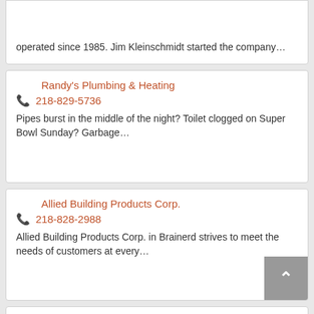operated since 1985. Jim Kleinschmidt started the company…
Randy's Plumbing & Heating
218-829-5736
Pipes burst in the middle of the night? Toilet clogged on Super Bowl Sunday? Garbage…
Allied Building Products Corp.
218-828-2988
Allied Building Products Corp. in Brainerd strives to meet the needs of customers at every…
Better Living Concepts Window Sales & Installations
218-829-5590